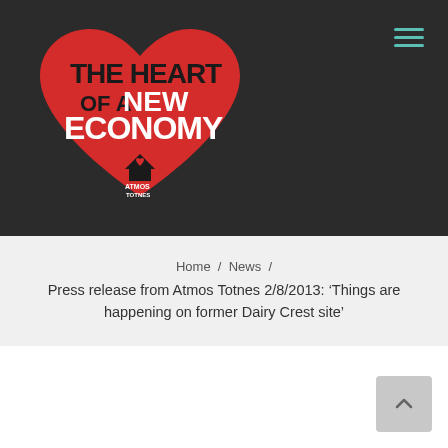[Figure (logo): Atmos Totnes heart-shaped logo with text 'THE HEART OF A NEW ECONOMY' on a red heart shape against dark background]
Home / News /
Press release from Atmos Totnes 2/8/2013: ‘Things are happening on former Dairy Crest site’